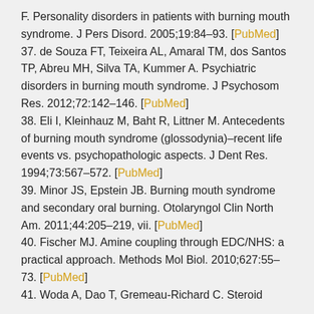F. Personality disorders in patients with burning mouth syndrome. J Pers Disord. 2005;19:84–93. [PubMed]
37. de Souza FT, Teixeira AL, Amaral TM, dos Santos TP, Abreu MH, Silva TA, Kummer A. Psychiatric disorders in burning mouth syndrome. J Psychosom Res. 2012;72:142–146. [PubMed]
38. Eli I, Kleinhauz M, Baht R, Littner M. Antecedents of burning mouth syndrome (glossodynia)–recent life events vs. psychopathologic aspects. J Dent Res. 1994;73:567–572. [PubMed]
39. Minor JS, Epstein JB. Burning mouth syndrome and secondary oral burning. Otolaryngol Clin North Am. 2011;44:205–219, vii. [PubMed]
40. Fischer MJ. Amine coupling through EDC/NHS: a practical approach. Methods Mol Biol. 2010;627:55–73. [PubMed]
41. Woda A, Dao T, Gremeau-Richard C. Steroid